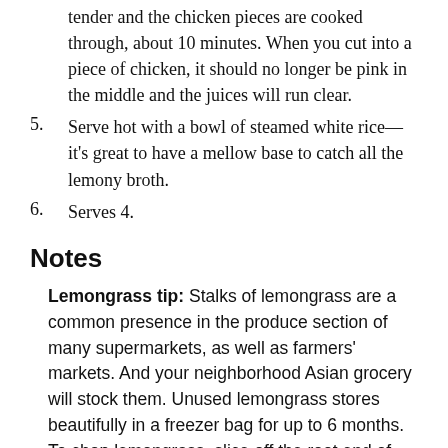tender and the chicken pieces are cooked through, about 10 minutes. When you cut into a piece of chicken, it should no longer be pink in the middle and the juices will run clear.
5. Serve hot with a bowl of steamed white rice—it's great to have a mellow base to catch all the lemony broth.
6. Serves 4.
Notes
Lemongrass tip: Stalks of lemongrass are a common presence in the produce section of many supermarkets, as well as farmers' markets. And your neighborhood Asian grocery will stock them. Unused lemongrass stores beautifully in a freezer bag for up to 6 months. To chop lemongrass, slice off the root end of the stalk and the top three-fourths of the blade-like green grass. All you